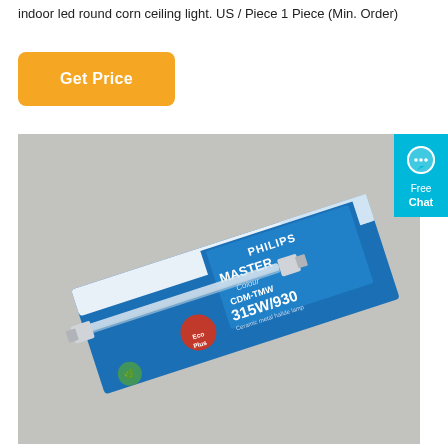indoor led round corn ceiling light. US / Piece 1 Piece (Min. Order)
Get Price
[Figure (photo): A Philips MASTER Colour CDM-TMW 315W/930 lamp product box photographed on a light grey background. The box is blue and white with Philips branding and shows a tubular lamp inside.]